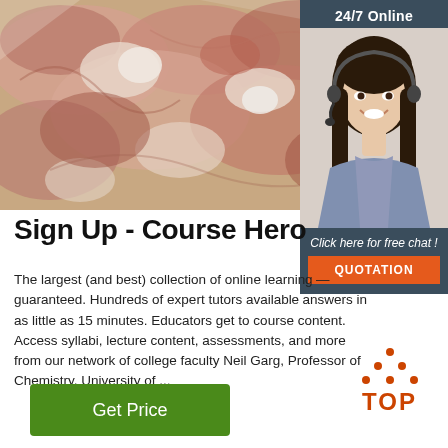[Figure (photo): Close-up photo of raw meat/bones with packaging]
[Figure (photo): Woman with headset smiling, customer service representative, with '24/7 Online' header, 'Click here for free chat!' text, and orange QUOTATION button]
Sign Up - Course Hero
The largest (and best) collection of online learning resources—guaranteed. Hundreds of expert tutors available answers in as little as 15 minutes. Educators get to course content. Access syllabi, lecture content, assessments, and more from our network of college faculty Neil Garg, Professor of Chemistry, University of ...
[Figure (logo): Orange TOP logo with upward arrow/triangle dots above text]
[Figure (other): Green 'Get Price' button]